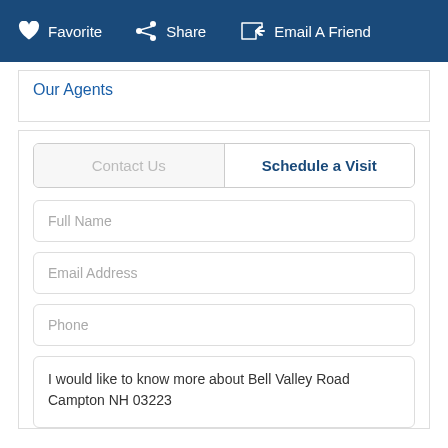Favorite  Share  Email A Friend
Our Agents
Contact Us  |  Schedule a Visit
Full Name
Email Address
Phone
I would like to know more about Bell Valley Road Campton NH 03223